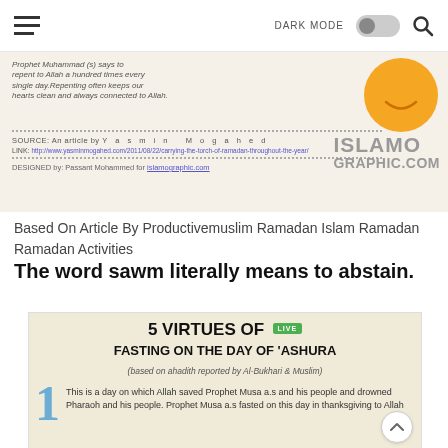DARK MODE [toggle] [search icon]
[Figure (infographic): Partial infographic snippet showing text about repenting to Allah a hundred times every single day, with source attribution to Yasmin Mogahed and islamographic.com, and an orange smiley face illustration. DESIGNED by: Passant Mohammed for islamographic.com]
Based On Article By Productivemuslim Ramadan Islam Ramadan Ramadan Activities
The word sawm literally means to abstain.
[Figure (infographic): Infographic titled '5 VIRTUES OF FASTING ON THE DAY OF 'ASHURA' (based on ahadith reported by Al-Bukhari & Muslim). Shows virtue 1: This is a day on which Allah saved Prophet Musa as and his people and drowned Pharaoh and his people. Prophet Musa as fasted on this day in thanksgiving to Allah. Has a LIVE badge in top right corner.]